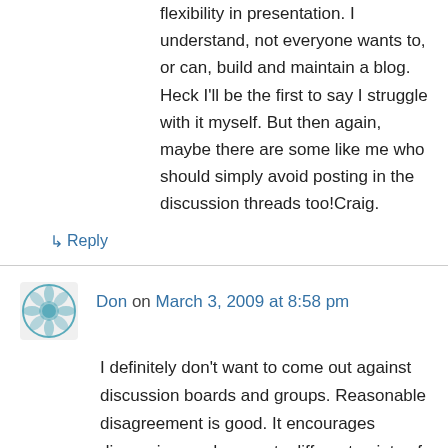flexibility in presentation. I understand, not everyone wants to, or can, build and maintain a blog. Heck I'll be the first to say I struggle with it myself. But then again, maybe there are some like me who should simply avoid posting in the discussion threads too!Craig.
↳ Reply
Don on March 3, 2009 at 8:58 pm
I definitely don't want to come out against discussion boards and groups. Reasonable disagreement is good. It encourages discussion, and presents different points of view and frames of reference. Any discussion where everyone agress all the time gets boring pretty quickly.I